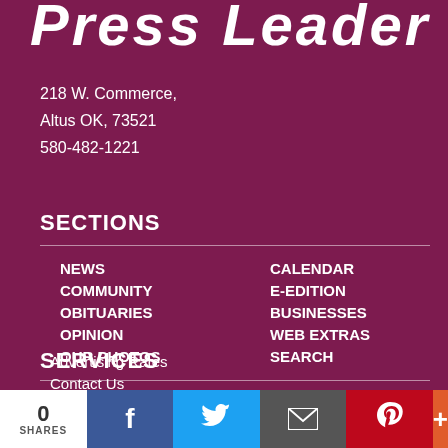Press Leader
218 W. Commerce,
Altus OK, 73521
580-482-1221
SECTIONS
NEWS
CALENDAR
COMMUNITY
E-EDITION
OBITUARIES
BUSINESSES
OPINION
WEB EXTRAS
OUR PHOTOS
SEARCH
SERVICES
Advertising Rates
Contact Us
0 SHARES